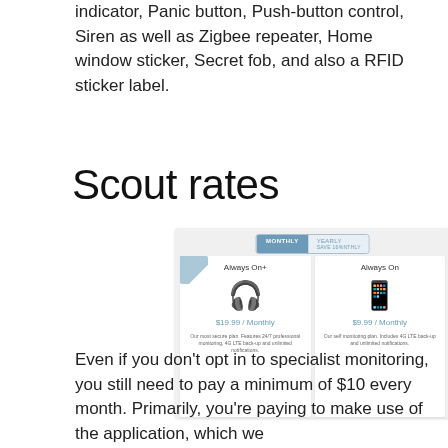indicator, Panic button, Push-button control, Siren as well as Zigbee repeater, Home window sticker, Secret fob, and also a RFID sticker label.
Scout rates
[Figure (screenshot): Screenshot of Scout alarm pricing plans showing two toggle options (MONTHLY and YEARLY/SAVE 16%MONTHLY) and two plan cards: 'Always On+' at $19.99 / Monthly with headset icon, and 'Always On' at $9.99 / Monthly with smartphone icon.]
Even if you don't opt in to specialist monitoring, you still need to pay a minimum of $10 every month. Primarily, you're paying to make use of the application, which we